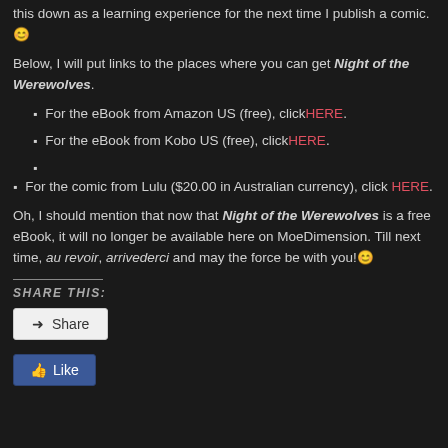this down as a learning experience for the next time I publish a comic.😊
Below, I will put links to the places where you can get Night of the Werewolves.
For the eBook from Amazon US (free), click HERE.
For the eBook from Kobo US (free), click HERE.
For the comic from Lulu ($20.00 in Australian currency), click HERE.
Oh, I should mention that now that Night of the Werewolves is a free eBook, it will no longer be available here on MoeDimension. Till next time, au revoir, arrivederci and may the force be with you!😊
SHARE THIS:
Share
Like